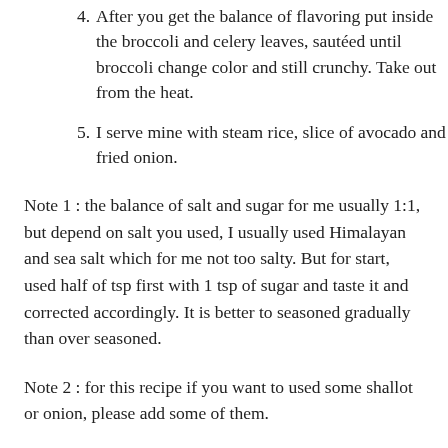4. After you get the balance of flavoring put inside the broccoli and celery leaves, sautéed until broccoli change color and still crunchy. Take out from the heat.
5. I serve mine with steam rice, slice of avocado and fried onion.
Note 1 : the balance of salt and sugar for me usually 1:1, but depend on salt you used, I usually used Himalayan and sea salt which for me not too salty. But for start, used half of tsp first with 1 tsp of sugar and taste it and corrected accordingly. It is better to seasoned gradually than over seasoned.
Note 2 : for this recipe if you want to used some shallot or onion, please add some of them.